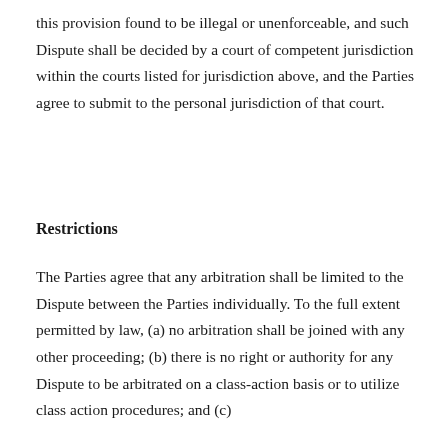this provision found to be illegal or unenforceable, and such Dispute shall be decided by a court of competent jurisdiction within the courts listed for jurisdiction above, and the Parties agree to submit to the personal jurisdiction of that court.
Restrictions
The Parties agree that any arbitration shall be limited to the Dispute between the Parties individually. To the full extent permitted by law, (a) no arbitration shall be joined with any other proceeding; (b) there is no right or authority for any Dispute to be arbitrated on a class-action basis or to utilize class action procedures; and (c) there is no right or authority for any Dispute to